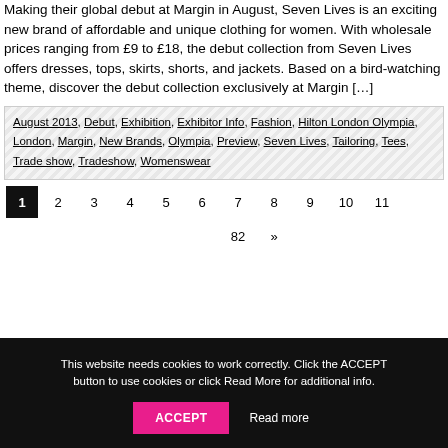Making their global debut at Margin in August, Seven Lives is an exciting new brand of affordable and unique clothing for women. With wholesale prices ranging from £9 to £18, the debut collection from Seven Lives offers dresses, tops, skirts, shorts, and jackets. Based on a bird-watching theme, discover the debut collection exclusively at Margin […]
August 2013, Debut, Exhibition, Exhibitor Info, Fashion, Hilton London Olympia, London, Margin, New Brands, Olympia, Preview, Seven Lives, Tailoring, Tees, Trade show, Tradeshow, Womenswear
1 2 3 4 5 6 7 8 9 10 11 … 82 »
This website needs cookies to work correctly. Click the ACCEPT button to use cookies or click Read More for additional info.